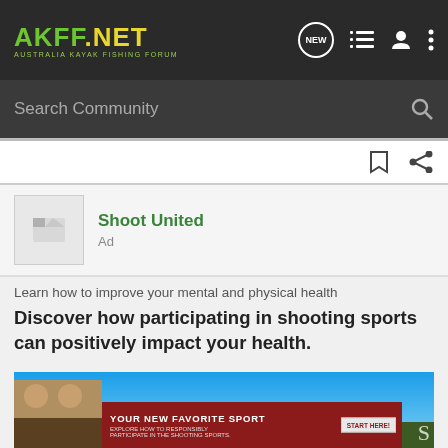AKFF.NET AUSTRALIA KAYAK FISHING FORUM
Search Community
[Figure (screenshot): Bookmark and share icons in a white toolbar]
[Figure (logo): Shoot United advertiser logo thumbnail]
Shoot United
Ad
Learn how to improve your mental and physical health
Discover how participating in shooting sports can positively impact your health.
[Figure (photo): Outdoor shooting sports scene with a red banner overlay reading YOUR NEW FAVORITE SPORT – EXPLORE HOW TO RESPONSIBLY PARTICIPATE IN THE SHOOTING SPORTS. START HERE!]